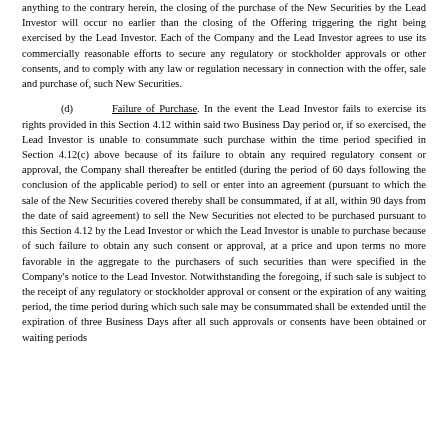anything to the contrary herein, the closing of the purchase of the New Securities by the Lead Investor will occur no earlier than the closing of the Offering triggering the right being exercised by the Lead Investor. Each of the Company and the Lead Investor agrees to use its commercially reasonable efforts to secure any regulatory or stockholder approvals or other consents, and to comply with any law or regulation necessary in connection with the offer, sale and purchase of, such New Securities.
(d) Failure of Purchase. In the event the Lead Investor fails to exercise its rights provided in this Section 4.12 within said two Business Day period or, if so exercised, the Lead Investor is unable to consummate such purchase within the time period specified in Section 4.12(c) above because of its failure to obtain any required regulatory consent or approval, the Company shall thereafter be entitled (during the period of 60 days following the conclusion of the applicable period) to sell or enter into an agreement (pursuant to which the sale of the New Securities covered thereby shall be consummated, if at all, within 90 days from the date of said agreement) to sell the New Securities not elected to be purchased pursuant to this Section 4.12 by the Lead Investor or which the Lead Investor is unable to purchase because of such failure to obtain any such consent or approval, at a price and upon terms no more favorable in the aggregate to the purchasers of such securities than were specified in the Company's notice to the Lead Investor. Notwithstanding the foregoing, if such sale is subject to the receipt of any regulatory or stockholder approval or consent or the expiration of any waiting period, the time period during which such sale may be consummated shall be extended until the expiration of three Business Days after all such approvals or consents have been obtained or waiting periods